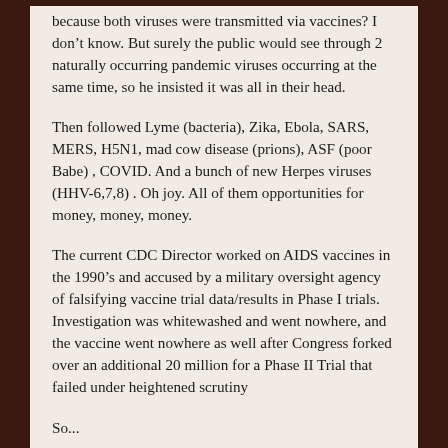because both viruses were transmitted via vaccines? I don't know. But surely the public would see through 2 naturally occurring pandemic viruses occurring at the same time, so he insisted it was all in their head.
Then followed Lyme (bacteria), Zika, Ebola, SARS, MERS, H5N1, mad cow disease (prions), ASF (poor Babe) , COVID. And a bunch of new Herpes viruses (HHV-6,7,8) . Oh joy. All of them opportunities for money, money, money.
The current CDC Director worked on AIDS vaccines in the 1990's and accused by a military oversight agency of falsifying vaccine trial data/results in Phase I trials. Investigation was whitewashed and went nowhere, and the vaccine went nowhere as well after Congress forked over an additional 20 million for a Phase II Trial that failed under heightened scrutiny
So...